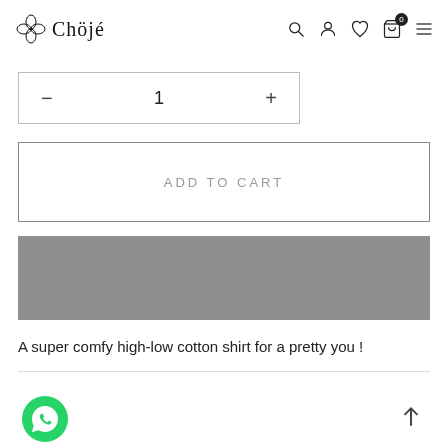Chöjé — navigation bar with logo, search, user, wishlist, cart, menu icons
[Figure (screenshot): Quantity selector box with minus button, value 1, and plus button]
[Figure (screenshot): ADD TO CART button with grey outlined border]
[Figure (screenshot): Grey filled button bar (buy now / alternate action)]
A super comfy high-low cotton shirt for a pretty you !
[Figure (logo): WhatsApp chat button (green circle with phone icon)]
[Figure (other): Back to top arrow icon]